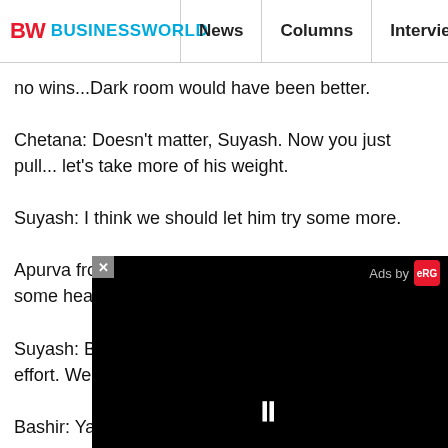BW BUSINESSWORLD | News | Columns | Interviews | BW
no wins...Dark room would have been better.
Chetana: Doesn't matter, Suyash. Now you just pull... let's take more of his weight.
Suyash: I think we should let him try some more.
Apurva from below yelled out, "Pull up. Give him some headway!"
Suyash: But that way he will not learn to make an effort. We should let him try as much as he can.
Bashir: Yaar, pull kar dey, my legs fe...
Suyash (to Apurva below): Boss, I am... be learning or teaching the right less... every person is to be pulled up, wha...